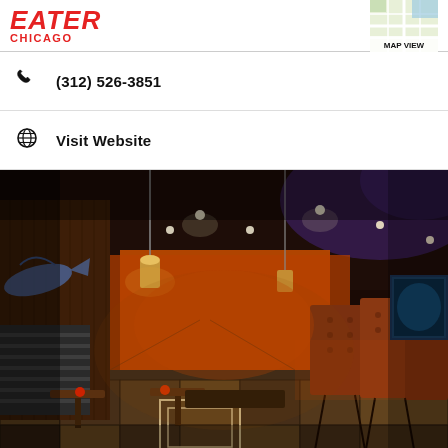EATER CHICAGO
(312) 526-3851
Visit Website
[Figure (photo): Interior of a bar/restaurant with dark wood paneled walls, orange accent walls, a row of tufted brown leather bar stools along the right side, striped booth seating on the left, pendant lights hanging from a dark ceiling, decorative fish mounted on the wall, and a tiled floor.]